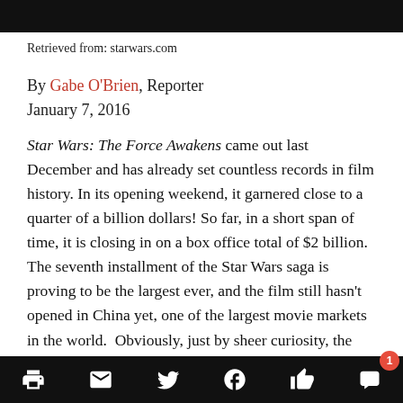Retrieved from: starwars.com
By Gabe O'Brien, Reporter
January 7, 2016
Star Wars: The Force Awakens came out last December and has already set countless records in film history. In its opening weekend, it garnered close to a quarter of a billion dollars! So far, in a short span of time, it is closing in on a box office total of $2 billion. The seventh installment of the Star Wars saga is proving to be the largest ever, and the film still hasn't opened in China yet, one of the largest movie markets in the world.  Obviously, just by sheer curiosity, the film has peaked the interest of millions of people around the world and has received this